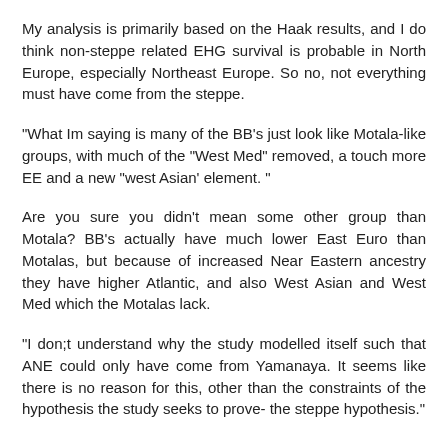My analysis is primarily based on the Haak results, and I do think non-steppe related EHG survival is probable in North Europe, especially Northeast Europe. So no, not everything must have come from the steppe.
"What Im saying is many of the BB's just look like Motala-like groups, with much of the "West Med" removed, a touch more EE and a new "west Asian' element. "
Are you sure you didn't mean some other group than Motala? BB's actually have much lower East Euro than Motalas, but because of increased Near Eastern ancestry they have higher Atlantic, and also West Asian and West Med which the Motalas lack.
"I don;t understand why the study modelled itself such that ANE could only have come from Yamanaya. It seems like there is no reason for this, other than the constraints of the hypothesis the study seeks to prove- the steppe hypothesis."